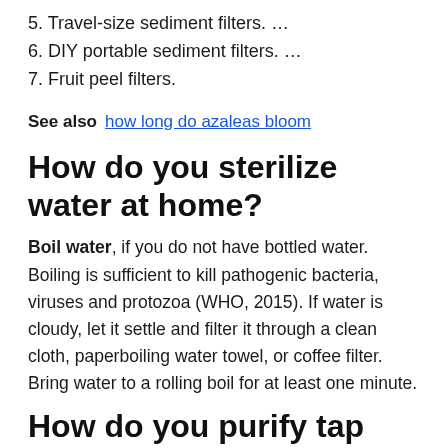5. Travel-size sediment filters. …
6. DIY portable sediment filters. …
7. Fruit peel filters.
See also  how long do azaleas bloom
How do you sterilize water at home?
Boil water, if you do not have bottled water. Boiling is sufficient to kill pathogenic bacteria, viruses and protozoa (WHO, 2015). If water is cloudy, let it settle and filter it through a clean cloth, paperboiling water towel, or coffee filter. Bring water to a rolling boil for at least one minute.
How do you purify tap water at